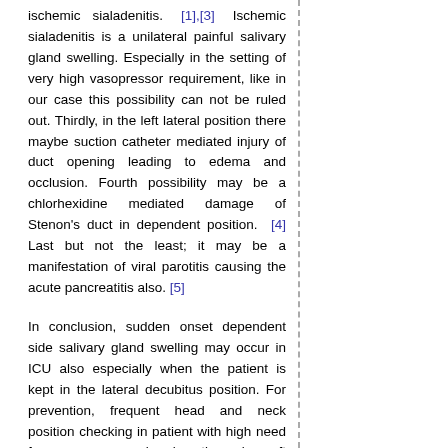ischemic sialadenitis. [1],[3] Ischemic sialadenitis is a unilateral painful salivary gland swelling. Especially in the setting of very high vasopressor requirement, like in our case this possibility can not be ruled out. Thirdly, in the left lateral position there maybe suction catheter mediated injury of duct opening leading to edema and occlusion. Fourth possibility may be a chlorhexidine mediated damage of Stenon's duct in dependent position. [4] Last but not the least; it may be a manifestation of viral parotitis causing the acute pancreatitis also. [5]
In conclusion, sudden onset dependent side salivary gland swelling may occur in ICU also especially when the patient is kept in the lateral decubitus position. For prevention, frequent head and neck position checking in patient with high need for vasopressor and oral suction using soft suction catheter both are to be highlighted.